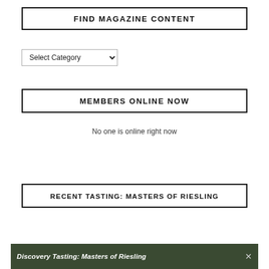FIND MAGAZINE CONTENT
Select Category
MEMBERS ONLINE NOW
No one is online right now
RECENT TASTING: MASTERS OF RIESLING
[Figure (screenshot): Dark green banner image with white italic bold text reading 'Discovery Tasting: Masters of Riesling' and a close X button on the right]